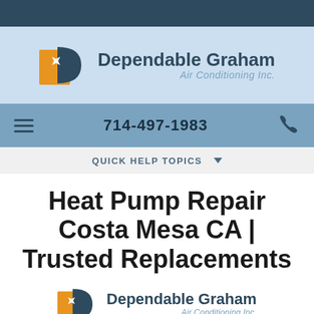[Figure (logo): Dependable Graham Air Conditioning Inc. logo with orange and blue shield icon]
714-497-1983
QUICK HELP TOPICS
Heat Pump Repair Costa Mesa CA | Trusted Replacements
[Figure (logo): Dependable Graham Air Conditioning Inc. logo with orange and blue shield icon (repeated)]